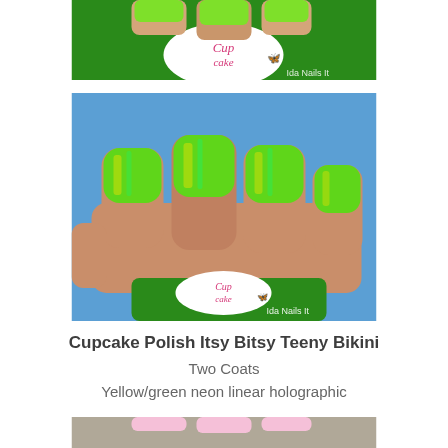[Figure (photo): Close-up partial photo of a hand holding a green nail polish bottle with Cupcake Polish branding, with watermark 'Ida Nails It']
[Figure (photo): Photo of a closed fist showing four nails painted with bright yellow-green neon linear holographic nail polish (Cupcake Polish Itsy Bitsy Teeny Bikini), held against a blue sky background, with Cupcake Polish bottle visible at bottom and watermark 'Ida Nails It']
Cupcake Polish Itsy Bitsy Teeny Bikini
Two Coats
Yellow/green neon linear holographic
[Figure (photo): Partial bottom photo showing another nail swatch, cropped]